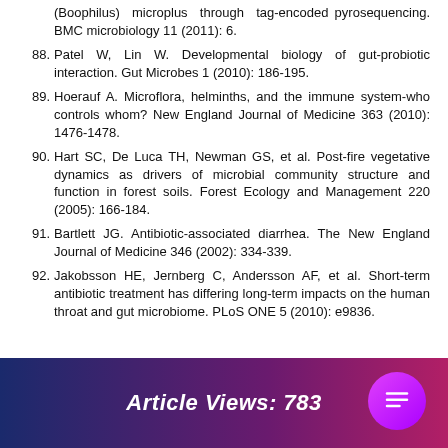(Boophilus) microplus through tag-encoded pyrosequencing. BMC microbiology 11 (2011): 6.
88. Patel W, Lin W. Developmental biology of gut-probiotic interaction. Gut Microbes 1 (2010): 186-195.
89. Hoerauf A. Microflora, helminths, and the immune system-who controls whom? New England Journal of Medicine 363 (2010): 1476-1478.
90. Hart SC, De Luca TH, Newman GS, et al. Post-fire vegetative dynamics as drivers of microbial community structure and function in forest soils. Forest Ecology and Management 220 (2005): 166-184.
91. Bartlett JG. Antibiotic-associated diarrhea. The New England Journal of Medicine 346 (2002): 334-339.
92. Jakobsson HE, Jernberg C, Andersson AF, et al. Short-term antibiotic treatment has differing long-term impacts on the human throat and gut microbiome. PLoS ONE 5 (2010): e9836.
Article Views: 783